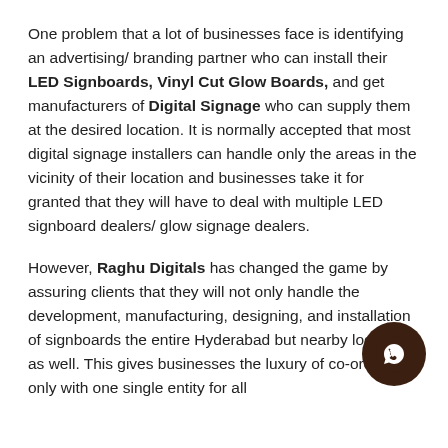One problem that a lot of businesses face is identifying an advertising/ branding partner who can install their LED Signboards, Vinyl Cut Glow Boards, and get manufacturers of Digital Signage who can supply them at the desired location. It is normally accepted that most digital signage installers can handle only the areas in the vicinity of their location and businesses take it for granted that they will have to deal with multiple LED signboard dealers/ glow signage dealers.
However, Raghu Digitals has changed the game by assuring clients that they will not only handle the development, manufacturing, designing, and installation of signboards the entire Hyderabad but nearby locations as well. This gives businesses the luxury of co-ordinating only with one single entity for all
[Figure (other): WhatsApp contact button — circular dark brown button with white WhatsApp phone/speech-bubble icon, positioned bottom-right]